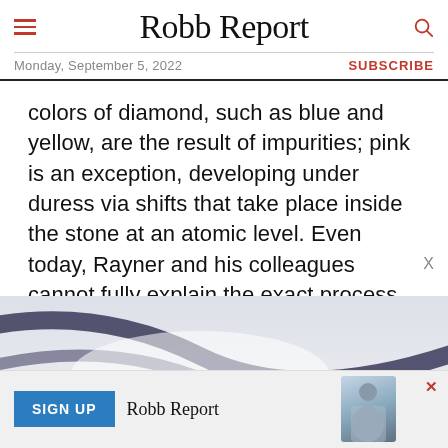Robb Report
Monday, September 5, 2022   SUBSCRIBE
colors of diamond, such as blue and yellow, are the result of impurities; pink is an exception, developing under duress via shifts that take place inside the stone at an atomic level. Even today, Rayner and his colleagues cannot fully explain the exact process that creates a pink diamond.
[Figure (photo): Close-up abstract photo showing curved dark lines against a light grey/white background, resembling a macro shot of a gemstone or reflective surface.]
[Figure (infographic): Advertisement banner: blue 'SIGN UP' button, Robb Report logo text, image of a person near a car, and a red X close button.]